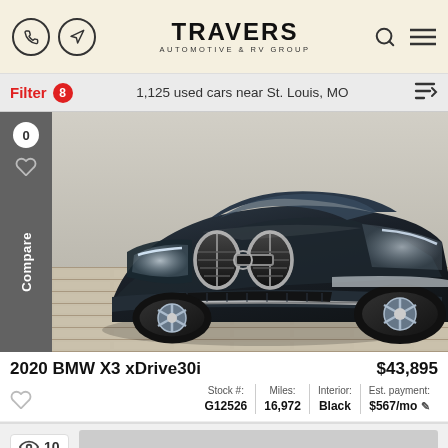TRAVERS AUTOMOTIVE & RV GROUP
Filter 8 — 1,125 used cars near St. Louis, MO
[Figure (photo): Front close-up photo of a dark navy blue 2020 BMW X3 xDrive30i SUV on a light wood-plank showroom floor]
2020 BMW X3 xDrive30i
$43,895
Stock #: G12526 | Miles: 16,972 | Interior: Black | Est. payment: $567/mo
10 views